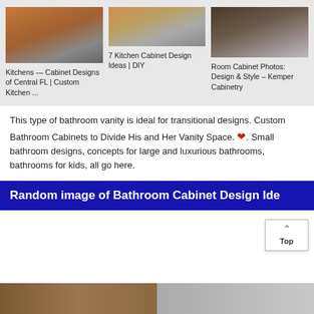[Figure (photo): Grid of three kitchen/bathroom cabinet photos with captions. Left: orange wood kitchen cabinets. Center: modern kitchen with stainless appliances. Right: dark bathroom vanity.]
Kitchens — Cabinet Designs of Central FL | Custom Kitchen ...
7 Kitchen Cabinet Design Ideas | DIY
Room Cabinet Photos: Design & Style – Kemper Cabinetry
This type of bathroom vanity is ideal for transitional designs. Custom Bathroom Cabinets to Divide His and Her Vanity Space. ❤. Small bathroom designs, concepts for large and luxurious bathrooms, bathrooms for kids, all go here.
Random image of Bathroom Cabinet Design Ide...
[Figure (photo): Bottom strip showing partial images of bathroom cabinet designs]